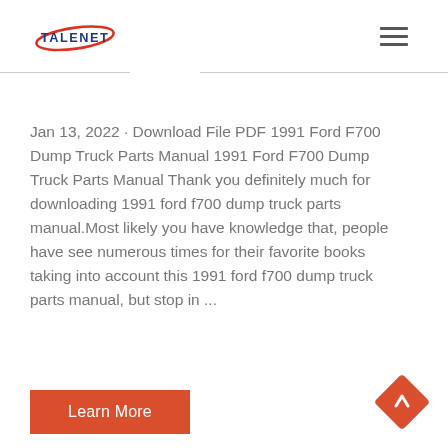TALENET
Jan 13, 2022 · Download File PDF 1991 Ford F700 Dump Truck Parts Manual 1991 Ford F700 Dump Truck Parts Manual Thank you definitely much for downloading 1991 ford f700 dump truck parts manual.Most likely you have knowledge that, people have see numerous times for their favorite books taking into account this 1991 ford f700 dump truck parts manual, but stop in ...
Learn More